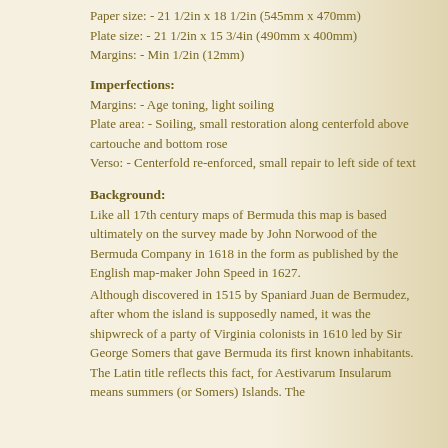Paper size: - 21 1/2in x 18 1/2in (545mm x 470mm)
Plate size: - 21 1/2in x 15 3/4in (490mm x 400mm)
Margins: - Min 1/2in (12mm)
Imperfections:
Margins: - Age toning, light soiling
Plate area: - Soiling, small restoration along centerfold above cartouche and bottom rose
Verso: - Centerfold re-enforced, small repair to left side of text
Background:
Like all 17th century maps of Bermuda this map is based ultimately on the survey made by John Norwood of the Bermuda Company in 1618 in the form as published by the English map-maker John Speed in 1627.
Although discovered in 1515 by Spaniard Juan de Bermudez, after whom the island is supposedly named, it was the shipwreck of a party of Virginia colonists in 1610 led by Sir George Somers that gave Bermuda its first known inhabitants. The Latin title reflects this fact, for Aestivarum Insularum means summers (or Somers) Islands. The